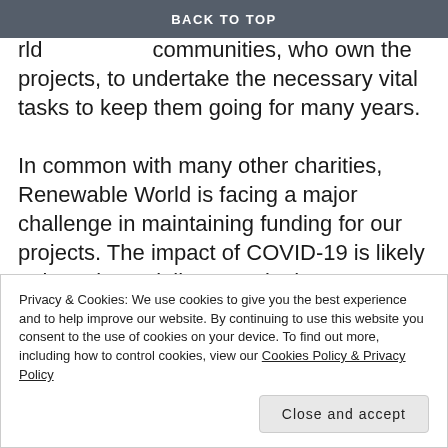BACK TO TOP
used. Renewable Wo... communities, who own the projects, to undertake the necessary vital tasks to keep them going for many years.

In common with many other charities, Renewable World is facing a major challenge in maintaining funding for our projects. The impact of COVID-19 is likely to be substantially worse in the developing world where it is unlikely to have the same media prominence as in the developed world. Our projects are even more important in the post-COVID world, with many people already poor facing increased
Privacy & Cookies: We use cookies to give you the best experience and to help improve our website. By continuing to use this website you consent to the use of cookies on your device. To find out more, including how to control cookies, view our Cookies Policy & Privacy Policy
Close and accept